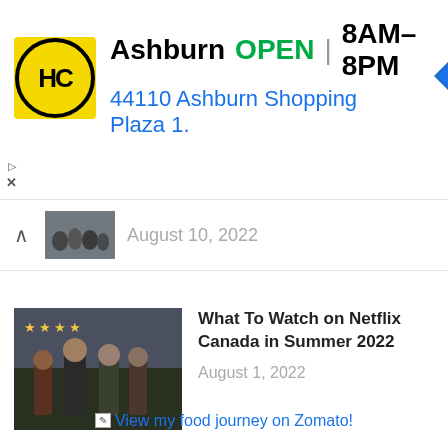[Figure (screenshot): Advertisement banner for HC (Hairclub or similar) store in Ashburn showing logo, OPEN status, hours 8AM-8PM, address 44110 Ashburn Shopping Plaza 1., and a blue navigation arrow icon]
August 10, 2022
[Figure (photo): Movie/TV show thumbnail with four stars rating, showing group of people standing outdoors in dark moody setting]
What To Watch on Netflix Canada in Summer 2022
August 1, 2022
View my food journey on Zomato!